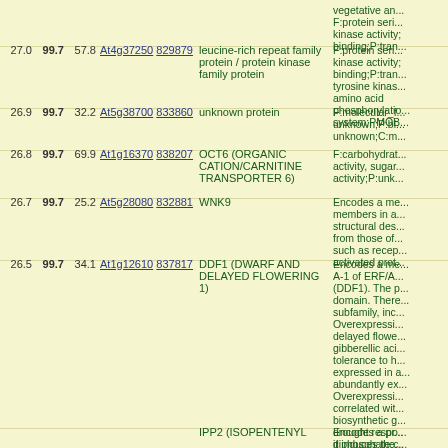| Score1 | Score2 | Score3 | ID1 | ID2 | Name | Description |
| --- | --- | --- | --- | --- | --- | --- |
| 27.0 | 99.7 | 57.8 | At4g37250 | 829879 | leucine-rich repeat family protein / protein kinase family protein | F:protein serine... kinase activity; binding;P:tran... tyrosine kinas... amino acid phosphorylatio... system;PMOB... |
| 26.9 | 99.7 | 32.2 | At5g38700 | 833860 | unknown protein | F:molecular_f... unknown;P:bi... unknown;C:m... |
| 26.8 | 99.7 | 69.9 | At1g16370 | 838207 | OCT6 (ORGANIC CATION/CARNITINE TRANSPORTER 6) | F:carbohydrat... activity, sugar... activity;P:unk... |
| 26.7 | 99.7 | 25.2 | At5g28080 | 832881 | WNK9 | Encodes a me... members in a... structural des... from those of... such as recep... activated prot... |
| 26.5 | 99.7 | 34.1 | At1g12610 | 837817 | DDF1 (DWARF AND DELAYED FLOWERING 1) | Encodes a me... A-1 of ERF/A... (DDF1). The p... domain. There... subfamily, inc... Overexpressi... delayed flowe... gibberellic aci... tolerance to h... expressed in a... abundantly ex... Overexpressi... correlated wit... biosynthetic g... drought respo... it induces the... encodes ad C... |
|  |  |  |  |  | IPP2 (ISOPENTENYL | Encodes a pr... diphosphate;c... |